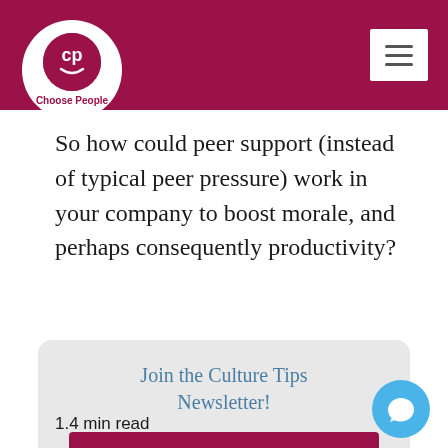Choose People
So how could peer support (instead of typical peer pressure) work in your company to boost morale, and perhaps consequently productivity?
Join the Culture Tips Newsletter!
Sign Up For Free
1.4 min read